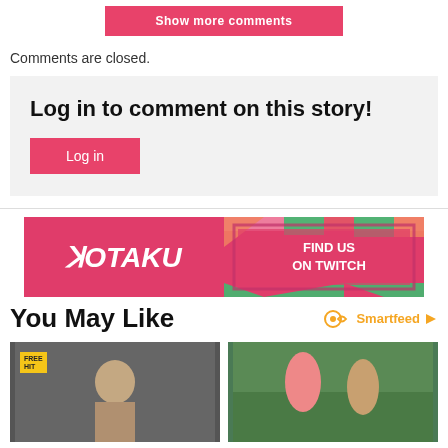Show more comments
Comments are closed.
Log in to comment on this story!
Log in
[Figure (logo): Kotaku banner with logo and 'FIND US ON TWITCH' text on pink/red background with geometric pattern]
You May Like
Smartfeed
[Figure (photo): Two thumbnail images side by side: left shows a 3D rendered female figure, right shows anime-style characters in a game scene]